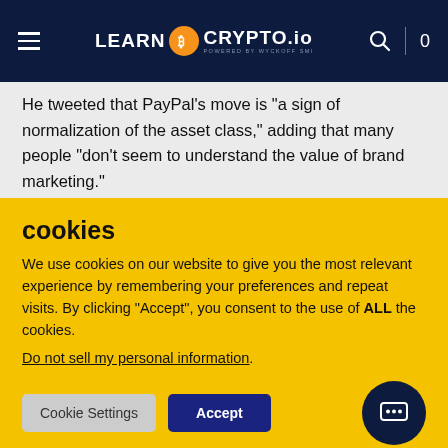LEARN CRYPTO.io POWERED BY WYCKOFF SMI
He tweeted that PayPal's move is "a sign of normalization of the asset class," adding that many people "don't seem to understand the value of brand marketing."
Likewise, Nigel Green, the chief executive of deVere Group and a high-profile crypto advocate, called PayPal's announcement a "major step forward towards the mass adoption of digital
cookies
We use cookies on our website to give you the most relevant experience by remembering your preferences and repeat visits. By clicking "Accept", you consent to the use of ALL the cookies.
Do not sell my personal information.
Cookie Settings
Accept